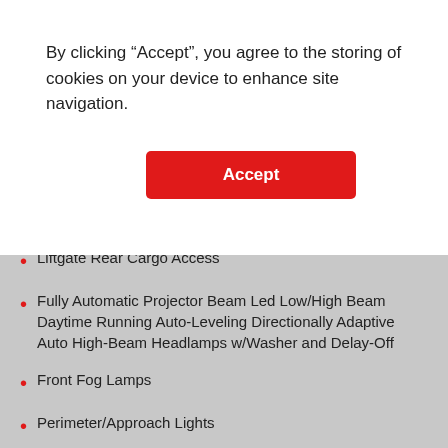By clicking “Accept”, you agree to the storing of cookies on your device to enhance site navigation.
Accept
Front License Plate Bracket
Liftgate Rear Cargo Access
Fully Automatic Projector Beam Led Low/High Beam Daytime Running Auto-Leveling Directionally Adaptive Auto High-Beam Headlamps w/Washer and Delay-Off
Front Fog Lamps
Perimeter/Approach Lights